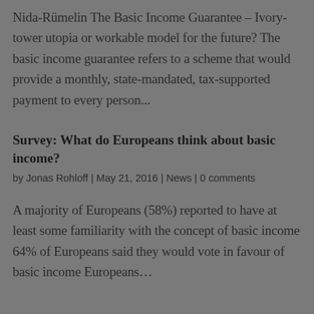Nida-Rümelin The Basic Income Guarantee – Ivory-tower utopia or workable model for the future? The basic income guarantee refers to a scheme that would provide a monthly, state-mandated, tax-supported payment to every person...
Survey: What do Europeans think about basic income?
by Jonas Rohloff | May 21, 2016 | News | 0 comments
A majority of Europeans (58%) reported to have at least some familiarity with the concept of basic income 64% of Europeans said they would vote in favour of basic income Europeans...